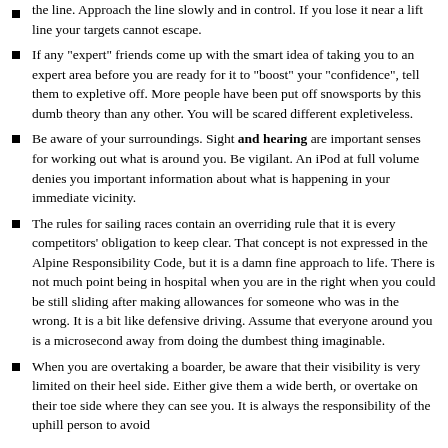the line. Approach the line slowly and in control. If you lose it near a lift line your targets cannot escape.
If any "expert" friends come up with the smart idea of taking you to an expert area before you are ready for it to "boost" your "confidence", tell them to expletive off. More people have been put off snowsports by this dumb theory than any other. You will be scared different expletiveless.
Be aware of your surroundings. Sight and hearing are important senses for working out what is around you. Be vigilant. An iPod at full volume denies you important information about what is happening in your immediate vicinity.
The rules for sailing races contain an overriding rule that it is every competitors' obligation to keep clear. That concept is not expressed in the Alpine Responsibility Code, but it is a damn fine approach to life. There is not much point being in hospital when you are in the right when you could be still sliding after making allowances for someone who was in the wrong. It is a bit like defensive driving. Assume that everyone around you is a microsecond away from doing the dumbest thing imaginable.
When you are overtaking a boarder, be aware that their visibility is very limited on their heel side. Either give them a wide berth, or overtake on their toe side where they can see you. It is always the responsibility of the uphill person to avoid